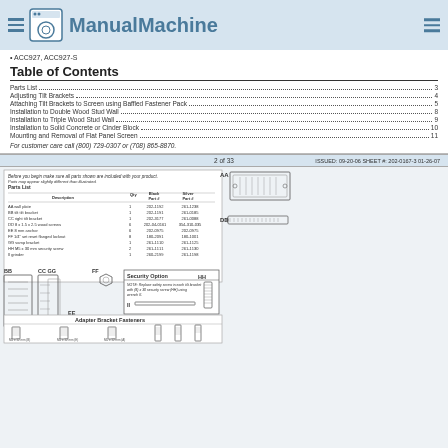ManualMachine
• ACC927, ACC927-S
Table of Contents
Parts List ... 3
Adjusting Tilt Brackets ... 4
Attaching Tilt Brackets to Screen using Baffled Fastener Pack ... 5
Installation to Double Wood Stud Wall ... 8
Installation to Triple Wood Stud Wall ... 9
Installation to Solid Concrete or Cinder Block ... 10
Mounting and Removal of Flat Panel Screen ... 11
For customer care call (800) 729-0307 or (708) 865-8870.
2 of 33     ISSUED: 09-20-06 SHEET #: 202-0167-3 01-26-07
[Figure (schematic): Parts list diagram showing labeled components AA, BB, CC, DD, EE, FF, GG, HH, II with parts table listing descriptions, quantities, black and silver part numbers. Also shows Adapter Bracket Fasteners diagram at bottom.]